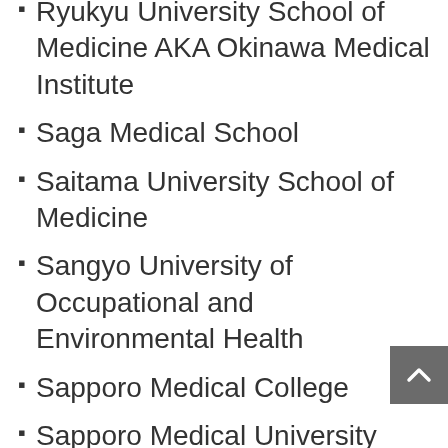Ryukyu University School of Medicine AKA Okinawa Medical Institute
Saga Medical School
Saitama University School of Medicine
Sangyo University of Occupational and Environmental Health
Sapporo Medical College
Sapporo Medical University
Shiga University of Medical Science
Shimane Medical University
Shinshu University School of Medicine